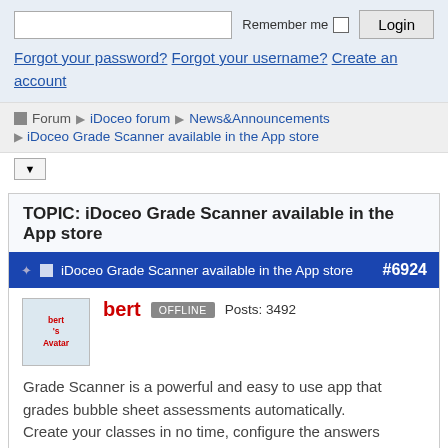Remember me  Login
Forgot your password? Forgot your username? Create an account
Forum ▶ iDoceo forum ▶ News&Announcements ▶ iDoceo Grade Scanner available in the App store
TOPIC: iDoceo Grade Scanner available in the App store
iDoceo Grade Scanner available in the App store #6924
bert  OFFLINE  Posts: 3492
Grade Scanner is a powerful and easy to use app that grades bubble sheet assessments automatically. Create your classes in no time, configure the answers to your assessments and start scanning once your…